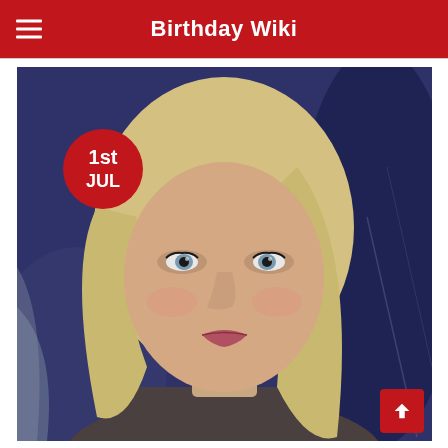Birthday Wiki
[Figure (photo): A woman with blonde hair against a dark blue background, with a red circular badge showing '1st JUL' in the upper left of the image]
1st JUL